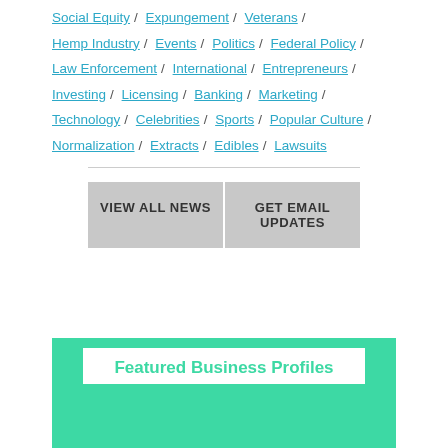Social Equity / Expungement / Veterans /
Hemp Industry / Events / Politics / Federal Policy /
Law Enforcement / International / Entrepreneurs /
Investing / Licensing / Banking / Marketing /
Technology / Celebrities / Sports / Popular Culture /
Normalization / Extracts / Edibles / Lawsuits
VIEW ALL NEWS
GET EMAIL UPDATES
Featured Business Profiles